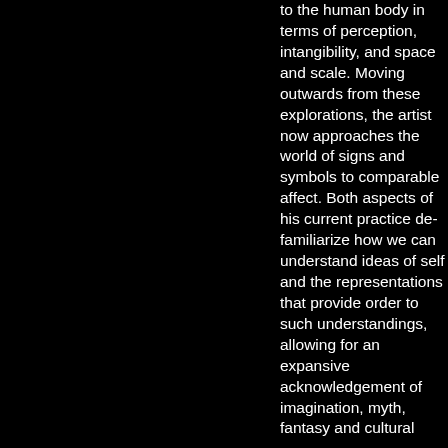to the human body in terms of perception, intangibility, and space and scale. Moving outwards from these explorations, the artist now approaches the world of signs and symbols to comparable affect. Both aspects of his current practice de-familiarize how we can understand ideas of self and the representations that provide order to such understandings, allowing for an expansive acknowledgement of imagination, myth, fantasy and cultural